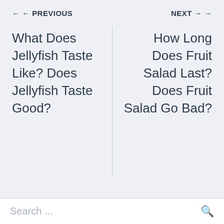← PREVIOUS    NEXT →
What Does Jellyfish Taste Like? Does Jellyfish Taste Good?
How Long Does Fruit Salad Last? Does Fruit Salad Go Bad?
Search ...